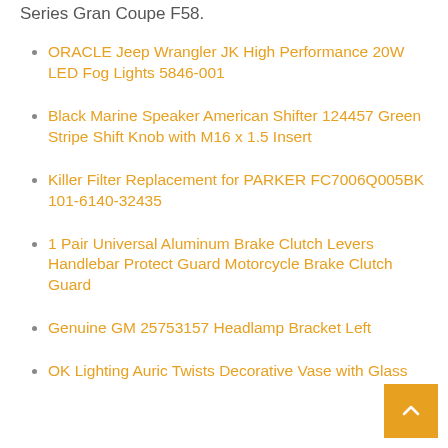Series Gran Coupe F58.
ORACLE Jeep Wrangler JK High Performance 20W LED Fog Lights 5846-001
Black Marine Speaker American Shifter 124457 Green Stripe Shift Knob with M16 x 1.5 Insert
Killer Filter Replacement for PARKER FC7006Q005BK 101-6140-32435
1 Pair Universal Aluminum Brake Clutch Levers Handlebar Protect Guard Motorcycle Brake Clutch Guard
Genuine GM 25753157 Headlamp Bracket Left
OK Lighting Auric Twists Decorative Vase with Glass